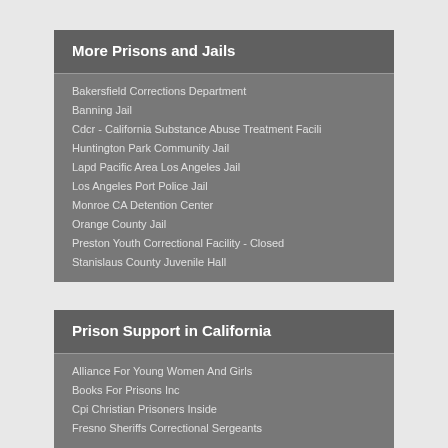More Prisons and Jails
Bakersfield Corrections Department
Banning Jail
Cdcr - California Substance Abuse Treatment Facili
Huntington Park Community Jail
Lapd Pacific Area Los Angeles Jail
Los Angeles Port Police Jail
Monroe CA Detention Center
Orange County Jail
Preston Youth Correctional Facility - Closed
Stanislaus County Juvenile Hall
Prison Support in California
Alliance For Young Women And Girls
Books For Prisons Inc
Cpi Christian Prisoners Inside
Fresno Sheriffs Correctional Sergeants